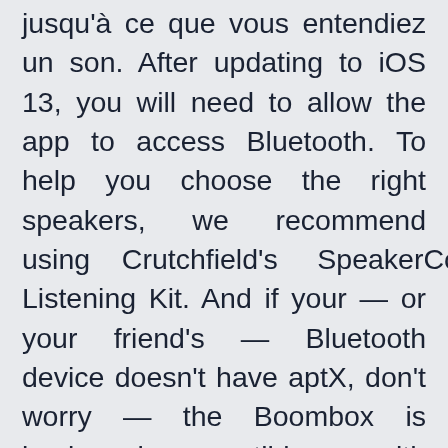jusqu'à ce que vous entendiez un son. After updating to iOS 13, you will need to allow the app to access Bluetooth. To help you choose the right speakers, we recommend using Crutchfield's SpeakerCompare Listening Kit. And if your — or your friend's — Bluetooth device doesn't have aptX, don't worry — the Boombox is backwards-compatible with earlier forms of Bluetooth. SUJETS: Bluetooth BoomBox UE logitech sans fil Wireless. Excellent and informative site with expert product reps. The status light blinks rapidly, indicating the speaker is ready to pair with a device. Logitech UE Boombox Wireless Bluetooth Speaker. The